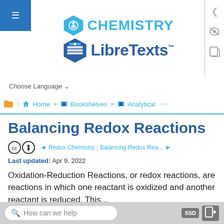[Figure (logo): Chemistry LibreTexts logo with hexagon icons and text]
Choose Language ▾
Home » Bookshelves » Analytical ...
Balancing Redox Reactions
◄ Redox Chemistry | Balancing Redox Rea... ►
Last updated: Apr 9, 2022
Oxidation-Reduction Reactions, or redox reactions, are reactions in which one reactant is oxidized and another reactant is reduced. This ...